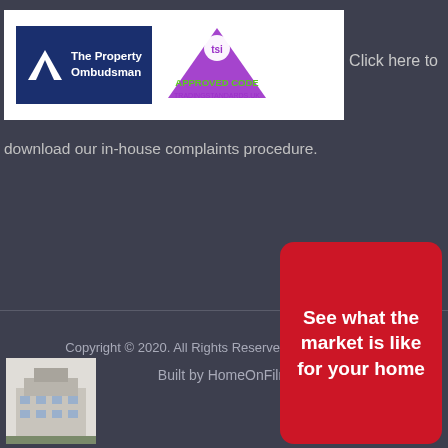[Figure (logo): The Property Ombudsman logo (white mountain on dark blue) and TSI Approved Code logo (purple triangle with tsi text, APPROVED CODE in green, TRADINGSTANDARDS.UK in purple) on white background]
Click here to
download our in-house complaints procedure.
Copyright © 2020. All Rights Reserved. Privacy Policy
Built by HomeOnFilm
See what the market is like for your home
[Figure (photo): Small thumbnail photo of a building exterior]